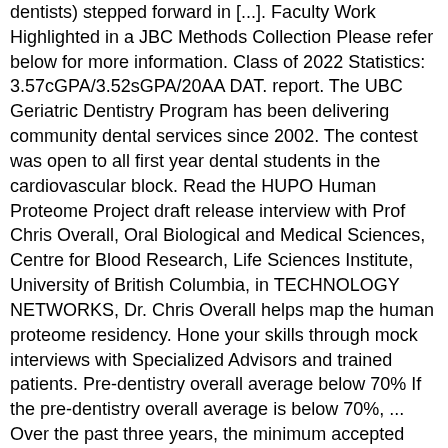dentists) stepped forward in [...]. Faculty Work Highlighted in a JBC Methods Collection Please refer below for more information. Class of 2022 Statistics: 3.57cGPA/3.52sGPA/20AA DAT. report. The UBC Geriatric Dentistry Program has been delivering community dental services since 2002. The contest was open to all first year dental students in the cardiovascular block. Read the HUPO Human Proteome Project draft release interview with Prof Chris Overall, Oral Biological and Medical Sciences, Centre for Blood Research, Life Sciences Institute, University of British Columbia, in TECHNOLOGY NETWORKS, Dr. Chris Overall helps map the human proteome residency. Hone your skills through mock interviews with Specialized Advisors and trained patients. Pre-dentistry overall average below 70% If the pre-dentistry overall average is below 70%, ... Over the past three years, the minimum accepted DAT averages for applicants considered for an interview were as follows: Saskatchewan residents: 17.33 (2018), 17.00 (2017) 17.67 (2016) University of British Columbia Dentistry. V6T 1Z3 Canada. In addition to the above, applicants must meet all other admission requirements, please see DMD Required Courses and DMD Admissions Procedures. However, continue to defer service delivery or offer services remotely/virtually whenever possible for the ongoing safety of yourself and the clients you serve. The